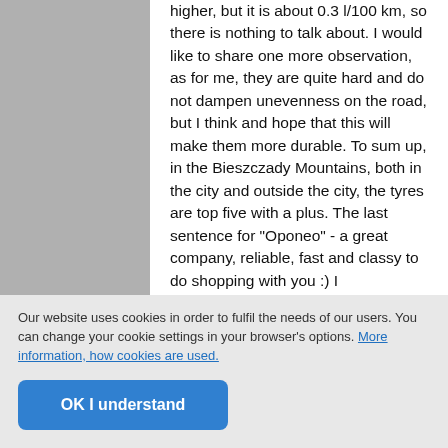higher, but it is about 0.3 l/100 km, so there is nothing to talk about. I would like to share one more observation, as for me, they are quite hard and do not dampen unevenness on the road, but I think and hope that this will make them more durable. To sum up, in the Bieszczady Mountains, both in the city and outside the city, the tyres are top five with a plus. The last sentence for "Oponeo" - a great company, reliable, fast and classy to do shopping with you :) I recommend.
Is this review helpful?
[Figure (other): Two circular thumb buttons: a yellow thumbs-up button and a dark grey thumbs-down button]
Our website uses cookies in order to fulfil the needs of our users. You can change your cookie settings in your browser's options. More information, how cookies are used.
OK I understand